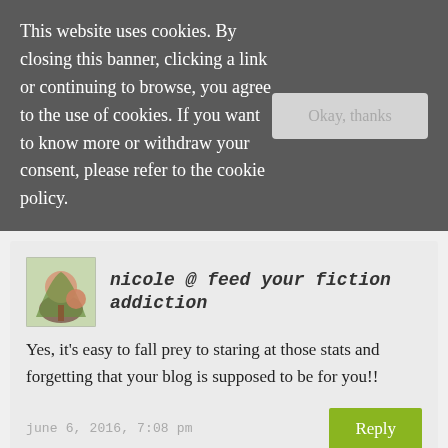This website uses cookies. By closing this banner, clicking a link or continuing to browse, you agree to the use of cookies. If you want to know more or withdraw your consent, please refer to the cookie policy.
Okay, thanks
nicole @ feed your fiction addiction
Yes, it's easy to fall prey to staring at those stats and forgetting that your blog is supposed to be for you!!
june 6, 2016, 7:08 pm
Reply
micheline @ lunar rainbows